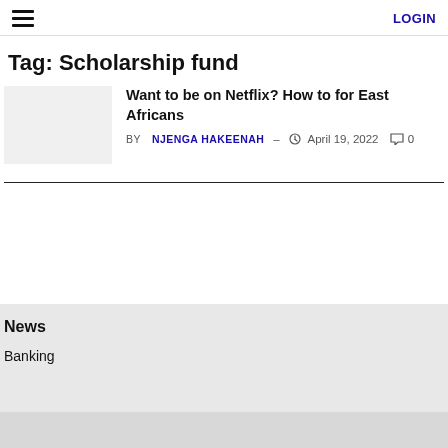LOGIN
Tag: Scholarship fund
Want to be on Netflix? How to for East Africans
BY NJENGA HAKEENAH — April 19, 2022  0
News
Banking